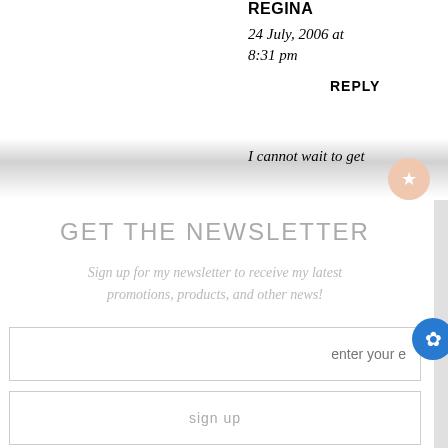REGINA
24 July, 2006 at 8:31 pm
REPLY
I cannot wait to get
GET THE NEWSLETTER
Sign up for my newsletter to receive my latest promotions, products, and other news!
enter your e
sign up